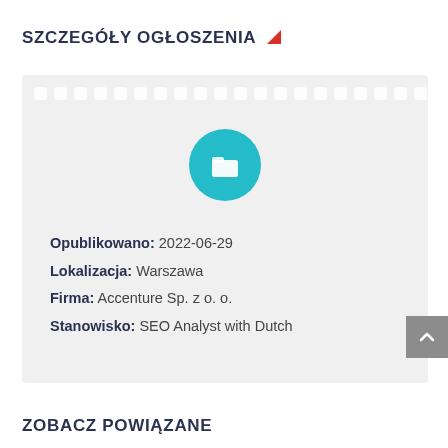SZCZEGÓŁY OGŁOSZENIA
[Figure (illustration): Card with a row of white square dots along the top and a teal folder icon centered inside a teal circle in the middle of the card background]
Opublikowano: 2022-06-29
Lokalizacja: Warszawa
Firma: Accenture Sp. z o. o.
Stanowisko: SEO Analyst with Dutch
ZOBACZ POWIĄZANE